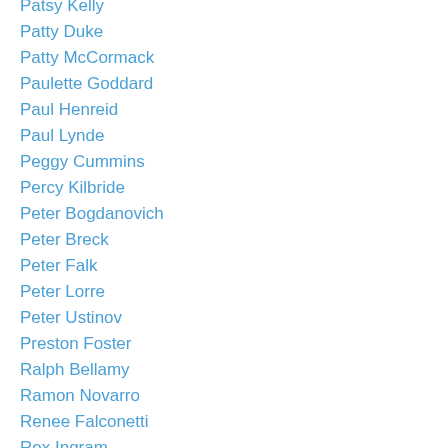Patsy Kelly
Patty Duke
Patty McCormack
Paulette Goddard
Paul Henreid
Paul Lynde
Peggy Cummins
Percy Kilbride
Peter Bogdanovich
Peter Breck
Peter Falk
Peter Lorre
Peter Ustinov
Preston Foster
Ralph Bellamy
Ramon Novarro
Renee Falconetti
Rex Ingram
Ricardo Montalban
Richard Barthelmess
Richard Basehart